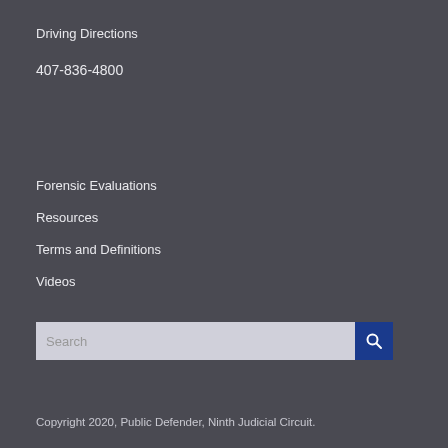Driving Directions
407-836-4800
Forensic Evaluations
Resources
Terms and Definitions
Videos
[Figure (other): Search bar with text input field and blue search button with magnifying glass icon]
Copyright 2020, Public Defender, Ninth Judicial Circuit.